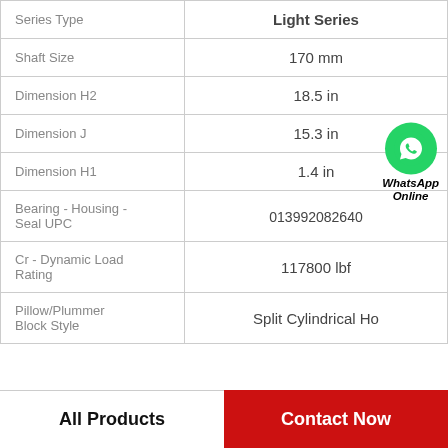| Property | Value |
| --- | --- |
| Series Type | Light Series |
| Shaft Size | 170 mm |
| Dimension H2 | 18.5 in |
| Dimension J | 15.3 in |
| Dimension H1 | 1.4 in |
| Bearing - Housing - Seal UPC | 013992082640 |
| Cr - Dynamic Load Rating | 117800 lbf |
| Pillow/Plummer Block Style | Split Cylindrical Ho |
[Figure (logo): WhatsApp contact button with green phone icon and text 'WhatsApp Online']
All Products
Contact Now